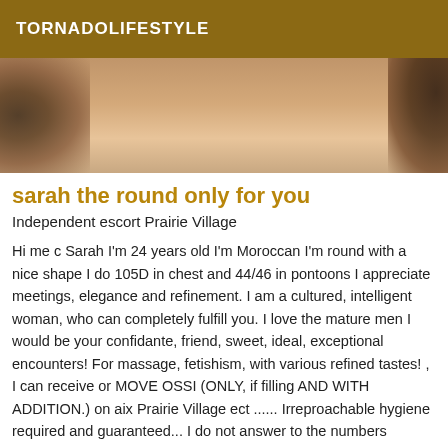TORNADOLIFESTYLE
[Figure (photo): Close-up photo showing skin tones with decorative items visible on left and right edges]
sarah the round only for you
Independent escort Prairie Village
Hi me c Sarah I'm 24 years old I'm Moroccan I'm round with a nice shape I do 105D in chest and 44/46 in pontoons I appreciate meetings, elegance and refinement. I am a cultured, intelligent woman, who can completely fulfill you. I love the mature men I would be your confidante, friend, sweet, ideal, exceptional encounters! For massage, fetishism, with various refined tastes! , I can receive or MOVE OSSI (ONLY, if filling AND WITH ADDITION.) on aix Prairie Village ect ...... Irreproachable hygiene required and guaranteed... I do not answer to the numbers masks, landlines and booths,